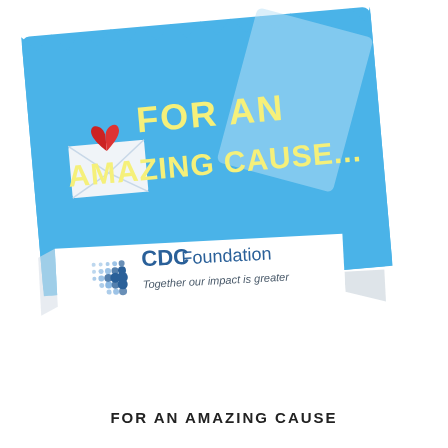[Figure (illustration): A tilted blue greeting card with a white envelope icon with a red heart on top, and bold yellow text 'FOR AN AMAZING CAUSE...' on a blue background. Below is a white banner/ribbon with the CDC Foundation logo (dot grid pattern and blue text) and tagline 'Together our impact is greater', with a folded paper effect.]
FOR AN AMAZING CAUSE